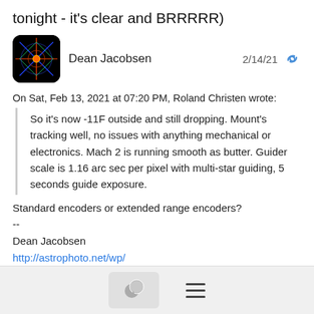tonight - it's clear and BRRRRR)
Dean Jacobsen
2/14/21
On Sat, Feb 13, 2021 at 07:20 PM, Roland Christen wrote:
So it's now -11F outside and still dropping. Mount's tracking well, no issues with anything mechanical or electronics. Mach 2 is running smooth as butter. Guider scale is 1.16 arc sec per pixel with multi-star guiding, 5 seconds guide exposure.
Standard encoders or extended range encoders?
--
Dean Jacobsen
http://astrophoto.net/wp/
Image Gallery - http://astrophoto.net/wp/image-gallery/
Astrobin Image Gallery -